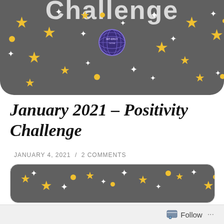[Figure (illustration): Dark gray rounded banner with gold and white sparkle stars, gold star shapes, small gold circles, and a purple globe/lattice icon in the center. Partial text 'Challenge' visible at top cut off.]
January 2021 – Positivity Challenge
JANUARY 4, 2021 / 2 COMMENTS
Forgive and forget... easier said than done. I'm gonna make it happen in 2021.
[Figure (illustration): Partial dark gray rounded banner visible at bottom with gold stars and white sparkle decorations, similar to the top banner.]
Follow ...